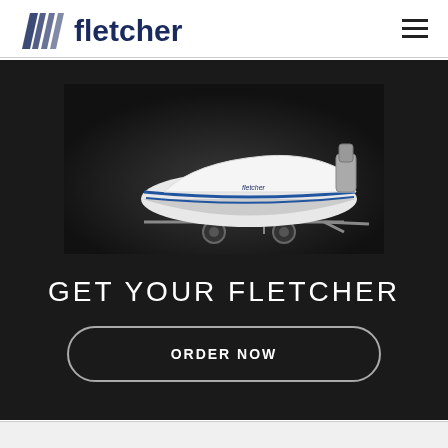Fletcher logo and navigation
[Figure (logo): Fletcher boats logo with diagonal stripe graphic and bold 'fletcher' text in dark navy]
[Figure (photo): White Fletcher speedboat on a trailer with outboard motor, dark background]
GET YOUR FLETCHER
ORDER NOW